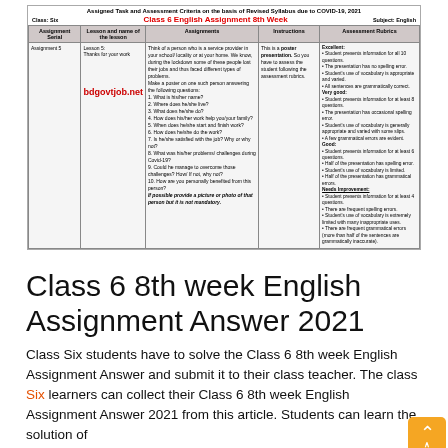Assigned Task and Assessment Criteria on the basis of Revised Syllabus due to COVID-19, 2021
Class 6 English Assignment 8th Week
| Assignment Serial | Lesson and name of the lesson | Assignments | Instructions | Assessment Rubrics |
| --- | --- | --- | --- | --- |
| Assignment 5 | Lesson 5: Thanks for your work | Think of a person who is a service provider in your school/ locality or at your home. We know, during the lockdown some of these people lost their jobs and thus faced different types of problems. Make a poster on one such person answering the following questions: 1. What is his/her name? 2. Where does he/she live? 3. What does he/she do? 4. How does his/her work help you/your family? 5. When does he/she start and finish work? 6. How does he/she do the work? 7. Is he/she satisfied with the job? Why or why not? 8. What was his/her problems/challenges during Covid-19? 9. Could he manage to overcome those challenges? How/ If not, why not? 10. How are you personally benefited from this person? If possible provide a picture or photo of that person but it is not mandatory. | This is a poster presentation. So you have to assess the student following the assessment rubrics. | Excellent:
• Student presents information for all 10 questions.
• The presentation has no spelling error.
• Student's use of vocabulary is appropriate and varied.
• All sentences are grammatically correct.
Very good:
• Student presents information for at least 8 questions.
• The presentation has occasional spelling error.
• Student's use of vocabulary is generally appropriate and varied with some slips.
• A few grammatical errors are evident.
Good:
• Student presents information for at least 6 questions.
• Half of the presentation has spelling error.
• Student's use of vocabulary is limited.
• Half of the presentation has grammatical errors.
Needs Improvement:
• Student presents information for at least 4 questions.
• There are frequent spelling errors.
• Student's use of vocabulary is extremely limited with many inappropriate uses.
• There are frequent grammatical errors (more than half of the sentences are grammatically inaccurate). |
Class 6 8th week English Assignment Answer 2021
Class Six students have to solve the Class 6 8th week English Assignment Answer and submit it to their class teacher. The class Six learners can collect their Class 6 8th week English Assignment Answer 2021 from this article. Students can learn the solution of